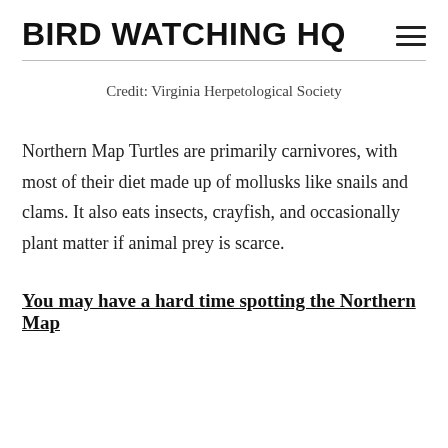BIRD WATCHING HQ
Credit: Virginia Herpetological Society
Northern Map Turtles are primarily carnivores, with most of their diet made up of mollusks like snails and clams. It also eats insects, crayfish, and occasionally plant matter if animal prey is scarce.
You may have a hard time spotting the Northern Map